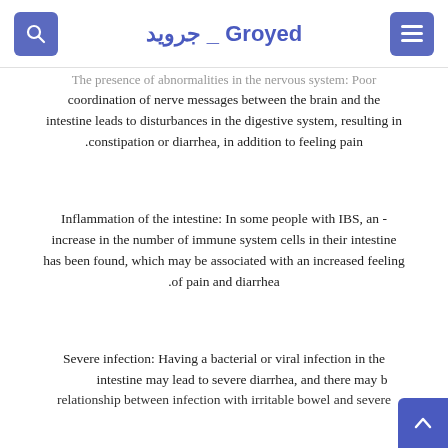Groyed _ جرويد
The presence of abnormalities in the nervous system: Poor coordination of nerve messages between the brain and the intestine leads to disturbances in the digestive system, resulting in constipation or diarrhea, in addition to feeling pain.
- an ,Inflammation of the intestine: In some people with IBS, an increase in the number of immune system cells in their intestine has been found, which may be associated with an increased feeling of pain and diarrhea.
Severe infection: Having a bacterial or viral infection in the intestine may lead to severe diarrhea, and there may be a relationship between infection with irritable bowel and severe...